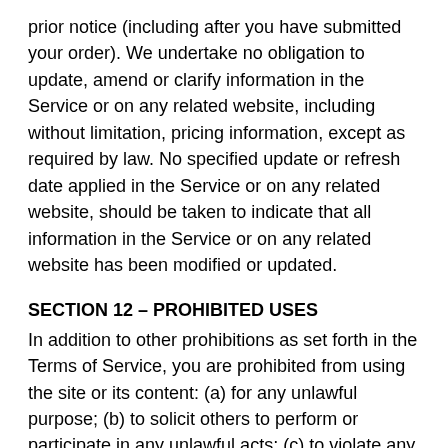prior notice (including after you have submitted your order). We undertake no obligation to update, amend or clarify information in the Service or on any related website, including without limitation, pricing information, except as required by law. No specified update or refresh date applied in the Service or on any related website, should be taken to indicate that all information in the Service or on any related website has been modified or updated.
SECTION 12 – PROHIBITED USES
In addition to other prohibitions as set forth in the Terms of Service, you are prohibited from using the site or its content: (a) for any unlawful purpose; (b) to solicit others to perform or participate in any unlawful acts; (c) to violate any international, federal, provincial or state regulations, rules, laws, or local ordinances; (d) to infringe upon or violate our intellectual property rights or the intellectual property rights of others; (e) to harass, abuse, insult, harm, defame, slander, disparage, intimidate, or discriminate based on